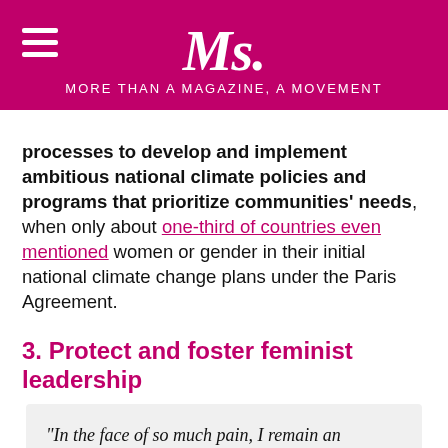Ms. MORE THAN A MAGAZINE, A MOVEMENT
processes to develop and implement ambitious national climate policies and programs that prioritize communities' needs, when only about one-third of countries even mentioned women or gender in their initial national climate change plans under the Paris Agreement.
3. Protect and foster feminist leadership
“In the face of so much pain, I remain an incurable optimist.  I am fueled by the passion of the women I have been privileged to meet and work with, buoyed by their hope for peace, justice and democracy.”